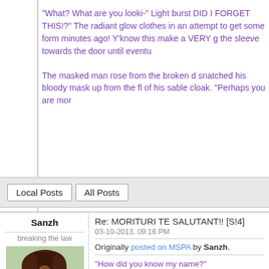"What? What are you looki-" Light burst... DID I FORGET THIS!?" The radiant glow clothes in an attempt to get some form minutes ago! Y'know this make a VERY g the sleeve towards the door until eventu
The masked man rose from the broken d snatched his bloody mask up from the fl of his sable cloak. "Perhaps you are mor
Local Posts | All Posts (tabs)
Sanzh
breaking the law
Re: MORITURI TE SALUTANT!! [S!4]
03-10-2013, 09:16 PM
Originally posted on MSPA by Sanzh.
"How did you know my name?"
A flood of vague memories washed over